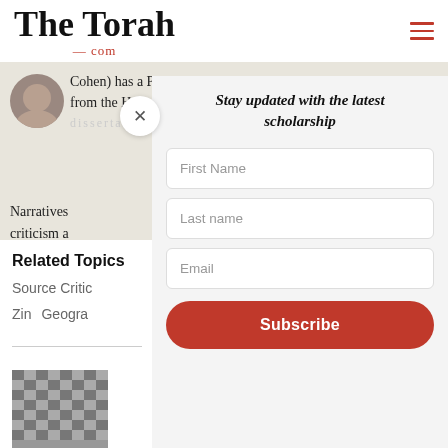The Torah .com
Cohen) has a Ph.D. in Hebrew Bible from the Hebrew University. His dissertation... Narratives... criticism a...
Related Topics
Source Critic
Zin   Geogra
Stay updated with the latest scholarship